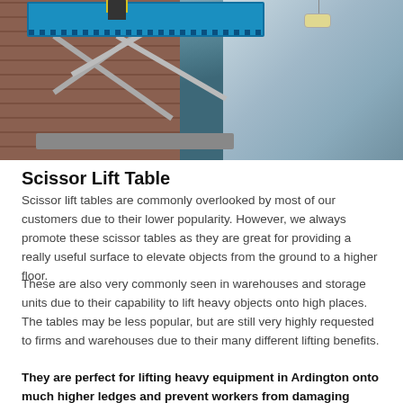[Figure (photo): A blue scissor lift platform elevated against a building facade with glass panels and brick/stripe patterned wall. A worker in a yellow safety vest and helmet stands on the platform.]
Scissor Lift Table
Scissor lift tables are commonly overlooked by most of our customers due to their lower popularity. However, we always promote these scissor tables as they are great for providing a really useful surface to elevate objects from the ground to a higher floor.
These are also very commonly seen in warehouses and storage units due to their capability to lift heavy objects onto high places. The tables may be less popular, but are still very highly requested to firms and warehouses due to their many different lifting benefits.
They are perfect for lifting heavy equipment in Ardington onto much higher ledges and prevent workers from damaging